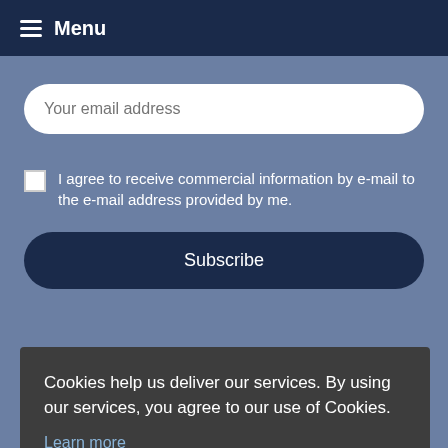Menu
Your email address
I agree to receive commercial information by e-mail to the e-mail address provided by me.
Subscribe
Cookies help us deliver our services. By using our services, you agree to our use of Cookies.
Learn more
I understand!
WE USE SAFE PAYMENTS